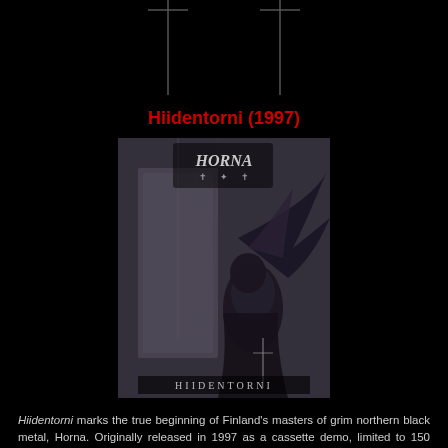[Figure (other): Decorative top bar with two vertical lines on black background]
Hiidentorni (1997)
[Figure (photo): Album cover artwork for Horna's Hiidentorni (1997) — a dark grayscale image showing a demonic/bat-winged figure with the band logo at the top and 'HIIDENTORNI' text at the bottom]
Hiidentorni marks the true beginning of Finland's masters of grim northern black metal, Horna. Originally released in 1997 as a cassette demo, limited to 150 copies, this recording was later reissued on CD and considered to be the band's debut album. What one can expect to find here is rather unremarkable black metal that displays a lot of influence from the Norwegian masters of the mid to mid 80s. The i